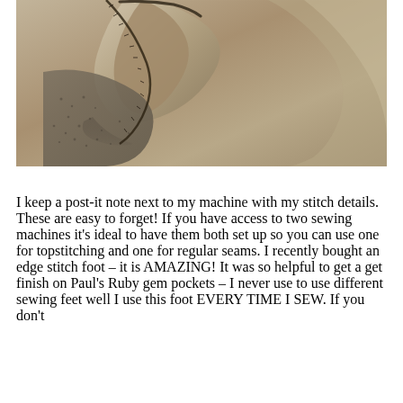[Figure (photo): Close-up sepia-toned photograph of folded fabric or clothing showing stitched seam details, with textured fleece-like material visible underneath a smooth outer fabric layer]
I keep a post-it note next to my machine with my stitch details. These are easy to forget! If you have access to two sewing machines it's ideal to have them both set up so you can use one for topstitching and one for regular seams. I recently bought an edge stitch foot – it is AMAZING! It was so helpful to get a get finish on Paul's Ruby gem pockets – I never use to use different sewing feet well I use this foot EVERY TIME I SEW. If you don't